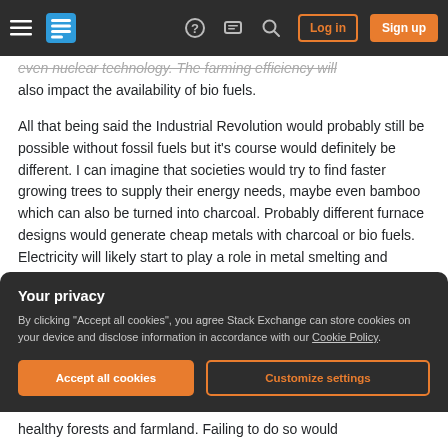Stack Exchange navigation bar with hamburger menu, logo, help, chat, search icons, Log in and Sign up buttons
even nuclear technology. The farming efficiency will also impact the availability of bio fuels.
All that being said the Industrial Revolution would probably still be possible without fossil fuels but it's course would definitely be different. I can imagine that societies would try to find faster growing trees to supply their energy needs, maybe even bamboo which can also be turned into charcoal. Probably different furnace designs would generate cheap metals with charcoal or bio fuels. Electricity will likely start to play a role in metal smelting and
Your privacy
By clicking "Accept all cookies", you agree Stack Exchange can store cookies on your device and disclose information in accordance with our Cookie Policy.
Accept all cookies
Customize settings
healthy forests and farmland. Failing to do so would